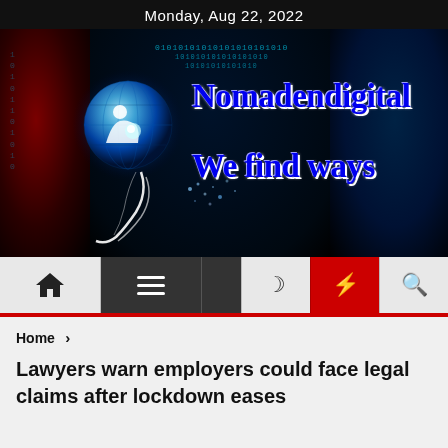Monday, Aug 22, 2022
[Figure (logo): Nomadendigital logo with globe graphic on dark tech background. Text reads 'Nomadendigital We find ways' in blue serif bold font with binary code overlay.]
Home > Lawyers warn employers could face legal claims after lockdown eases
Lawyers warn employers could face legal claims after lockdown eases